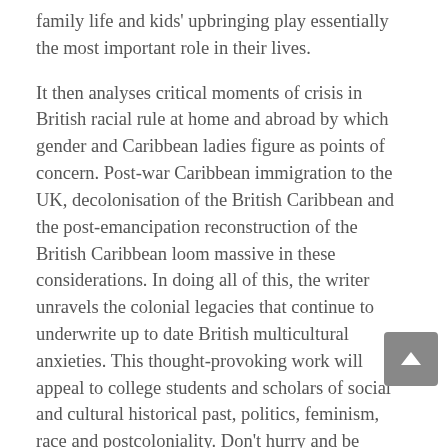family life and kids' upbringing play essentially the most important role in their lives.
It then analyses critical moments of crisis in British racial rule at home and abroad by which gender and Caribbean ladies figure as points of concern. Post-war Caribbean immigration to the UK, decolonisation of the British Caribbean and the post-emancipation reconstruction of the British Caribbean loom massive in these considerations. In doing all of this, the writer unravels the colonial legacies that continue to underwrite up to date British multicultural anxieties. This thought-provoking work will appeal to college students and scholars of social and cultural historical past, politics, feminism, race and postcoloniality. Don't hurry and be positive to take enough time to get to know these ladies properly enough to make a aware decision as to which one is your good match.
This situation drives many attractive Haitian ladies to look